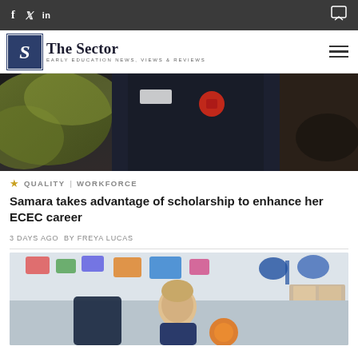f  t  in  [comment icon] — The Sector: Early Education News, Views & Reviews
[Figure (photo): Close-up of a person wearing a dark navy uniform/jacket with a red logo badge, standing outdoors with blurred foliage in background]
★ QUALITY | WORKFORCE
Samara takes advantage of scholarship to enhance her ECEC career
3 DAYS AGO  BY FREYA LUCAS
[Figure (photo): A young toddler child playing with toys in a colorful early childhood education and care room environment with educational items on walls]